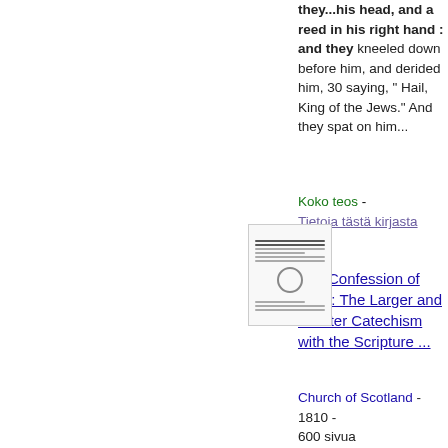they...his head, and a reed in his right hand : and they kneeled down before him, and derided him, 30 saying, " Hail, King of the Jews." And they spat on him...
Koko teos - Tietoja tästä kirjasta
[Figure (photo): Thumbnail image of a book cover or title page with text lines and a circular seal/emblem]
The Confession of Faith: The Larger and Shorter Catechism with the Scripture ...
Church of Scotland - 1810 - 600 sivua
...aha, our eye hath seen it...